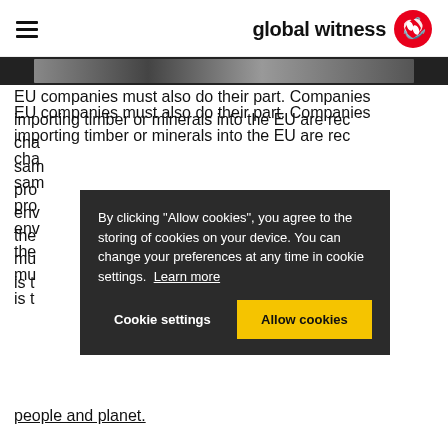global witness
[Figure (photo): Black and white image strip showing partial faces/people]
EU companies must also do their part. Companies importing timber or minerals into the EU are required to do their due diligence from the supply chain, and the same should be true of products that may have caused environmental damage. But there must also be accountability at the top, which is the responsibility of directors to put people and planet.
By clicking "Allow cookies", you agree to the storing of cookies on your device. You can change your preferences at any time in cookie settings. Learn more
Cookie settings   Allow cookies